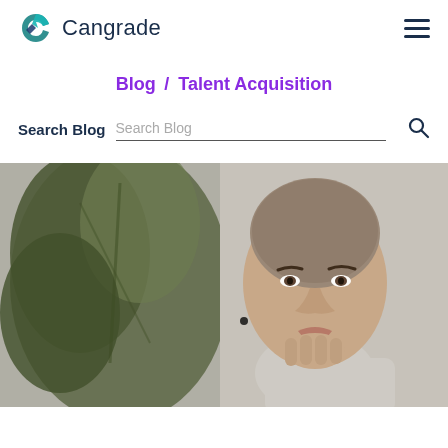Cangrade
Blog / Talent Acquisition
Search Blog
[Figure (photo): A woman with a shaved head wearing a gray turtleneck, resting her chin on her hand thoughtfully, with a blurred green plant in the foreground and a neutral background.]